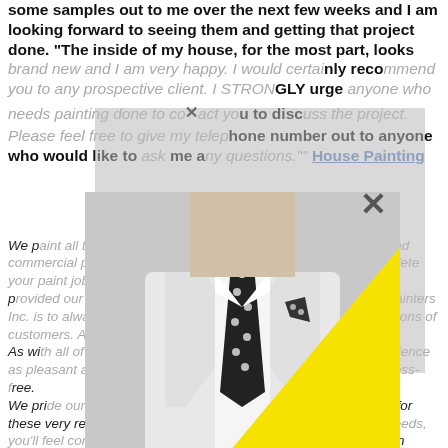some samples out to me over the next few weeks and I am looking forward to seeing them and getting that project done. “The inside of my house, for the most part, looks brand new and I am very happy. I would certainly recommend you to any prospective client. I STRONGLY urge anyone who needs painting done to contact you to discuss the project. Please feel free to give my telephone number out to anyone who would like to ask me any questions.”” House Painting
We paint all types of projects — interior and exterior residential and commercial painting projects. Our experienced painters will complete your paint job with prompt service, quality workmanship. We have provided our Stamford painting services and our goal at House Painters Inc. is to always have the ability to meet and exceed the expectations of customers. Always our number one priority. As with all of our services, we want to make the customer’s experience as pleasant and easy to choose and our painting services are stress-free. We pride ourselves on being the best home painters in Stamford for these very reasons. When you choose us to fulfill your painting needs, you’ll feel confident that all of the work will get done on time, within budget and with the highest quality of workmanship. House Painting
[Figure (photo): Black and white photo of a man in a white suit with a black polka-dot tie and matching pocket square, with a large yellow triangle overlaid in the lower right portion of the image.]